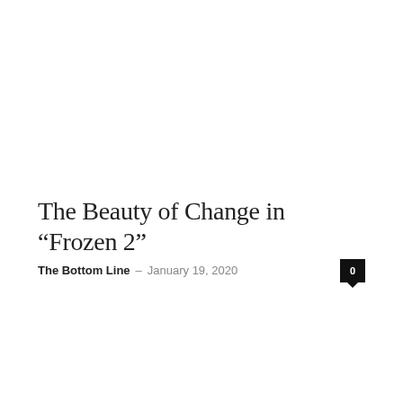The Beauty of Change in “Frozen 2”
The Bottom Line – January 19, 2020